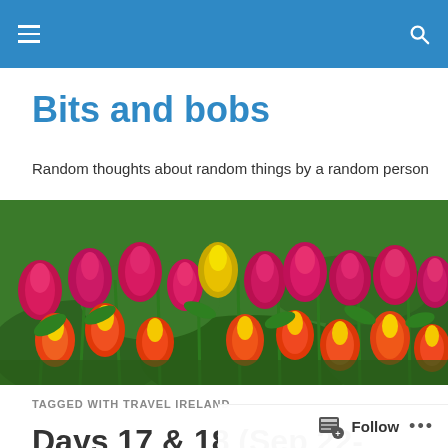Bits and bobs
Random thoughts about random things by a random person
[Figure (photo): Field of colorful tulips — predominantly pink/magenta and red-yellow bicolor tulips with a single yellow tulip in the center, photographed from a low angle.]
TAGGED WITH TRAVEL IRELAND
Days 17 & 18 (Sep 22-23/19)